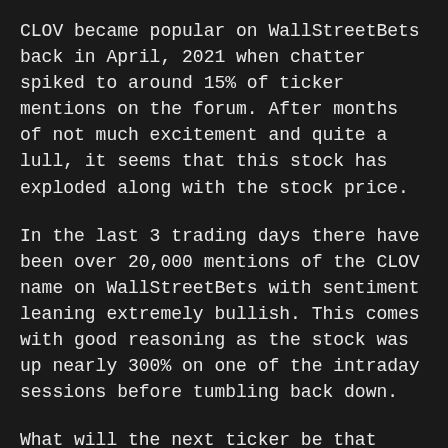CLOV became popular on WallStreetBets back in April, 2021 when chatter spiked to around 15% of ticker mentions on the forum. After months of not much excitement and quite a lull, it seems that this stock has exploded along with the stock price.
In the last 3 trading days there have been over 20,000 mentions of the CLOV name on WallStreetBets with sentiment leaning extremely bullish. This comes with good reasoning as the stock was up nearly 300% on one of the intraday sessions before tumbling back down.
What will the next ticker be that explodes to the upside? It's not easy to say, but I can almost guarantee it will pop up on the SwaggyStocks hype tracker.